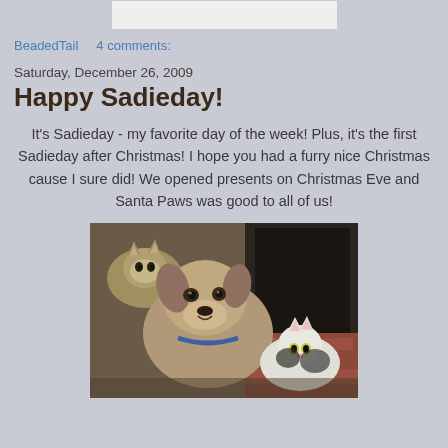[Figure (photo): Partial top image (cropped), appears to be a small colored graphic on white background]
BeadedTail   4 comments:
Saturday, December 26, 2009
Happy Sadieday!
It's Sadieday - my favorite day of the week! Plus, it's the first Sadieday after Christmas! I hope you had a furry nice Christmas cause I sure did! We opened presents on Christmas Eve and Santa Paws was good to all of us!
[Figure (photo): Photo of a dog (appears to be a German Shepherd mix or husky mix) with cats, taken indoors near a fireplace or dark background]